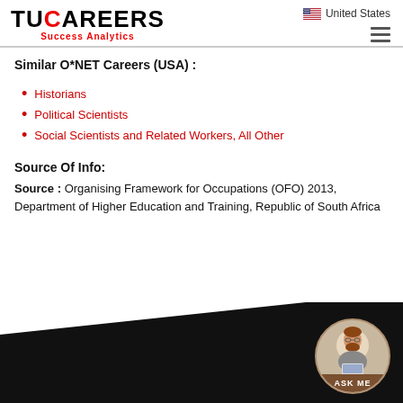United States | TUCAREERS Success Analytics
Similar O*NET Careers (USA) :
Historians
Political Scientists
Social Scientists and Related Workers, All Other
Source Of Info:
Source : Organising Framework for Occupations (OFO) 2013, Department of Higher Education and Training, Republic of South Africa
[Figure (illustration): ASK ME chatbot avatar circle with person at laptop icon and brown label]